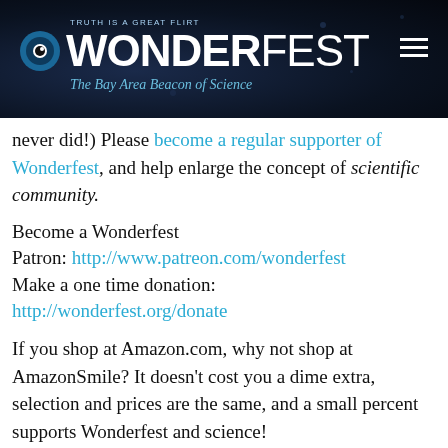[Figure (logo): Wonderfest logo banner: dark blue/navy textured background with bokeh light dots. Large white bold text 'WONDERFEST' with eye icon. Tagline 'TRUTH IS A GREAT FLIRT' above and 'The Bay Area Beacon of Science' in italic teal below. Hamburger menu icon top right.]
never did!) Please become a regular supporter of Wonderfest, and help enlarge the concept of scientific community.
Become a Wonderfest Patron: http://www.patreon.com/wonderfest
Make a one time donation:
http://wonderfest.org/donate
If you shop at Amazon.com, why not shop at AmazonSmile? It doesn’t cost you a dime extra, selection and prices are the same, and a small percent supports Wonderfest and science!